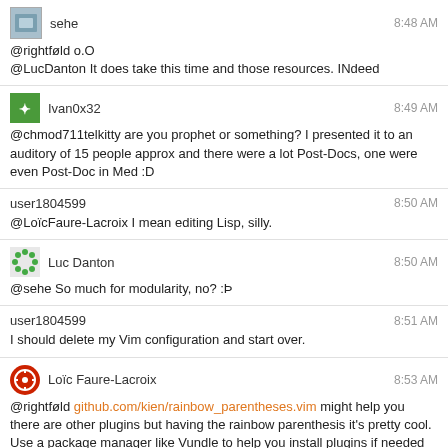sehe 8:48 AM
@rightføld o.O
@LucDanton It does take this time and those resources. INdeed
Ivan0x32 8:49 AM
@chmod711telkitty are you prophet or something? I presented it to an auditory of 15 people approx and there were a lot Post-Docs, one were even Post-Doc in Med :D
user1804599 8:50 AM
@LoicFaure-Lacroix I mean editing Lisp, silly.
Luc Danton 8:50 AM
@sehe So much for modularity, no? :Þ
user1804599 8:51 AM
I should delete my Vim configuration and start over.
Loïc Faure-Lacroix 8:53 AM
@rightføld github.com/kien/rainbow_parentheses.vim might help you
there are other plugins but having the rainbow parenthesis it's pretty cool. Use a package manager like Vundle to help you install plugins if needed
user1804599 8:54 AM
Yup, also need a proper indentation plugin, ParEdit and CIDER please.
Loïc Faure-Lacroix 8:55 AM
I don't know ident works for me
paste2.org/5aY1aecA